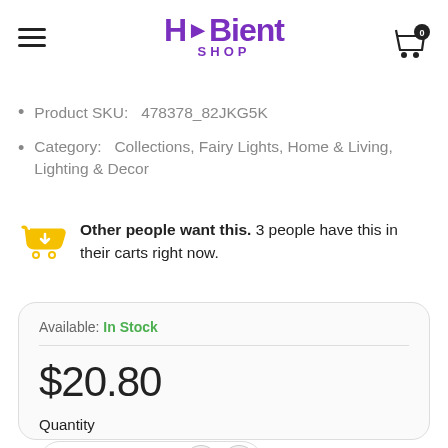HUBient SHOP
Product SKU:  478378_82JKG5K
Category:   Collections, Fairy Lights, Home & Living, Lighting & Decor
Other people want this. 3 people have this in their carts right now.
Available: In Stock
$20.80
Quantity
1